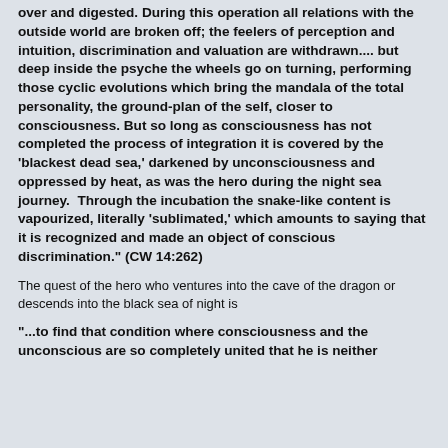over and digested. During this operation all relations with the outside world are broken off; the feelers of perception and intuition, discrimination and valuation are withdrawn.... but deep inside the psyche the wheels go on turning, performing those cyclic evolutions which bring the mandala of the total personality, the ground-plan of the self, closer to consciousness. But so long as consciousness has not completed the process of integration it is covered by the 'blackest dead sea,' darkened by unconsciousness and oppressed by heat, as was the hero during the night sea journey.  Through the incubation the snake-like content is vapourized, literally 'sublimated,' which amounts to saying that it is recognized and made an object of conscious discrimination." (CW 14:262)
The quest of the hero who ventures into the cave of the dragon or descends into the black sea of night is
"...to find that condition where consciousness and the unconscious are so completely united that he is neither